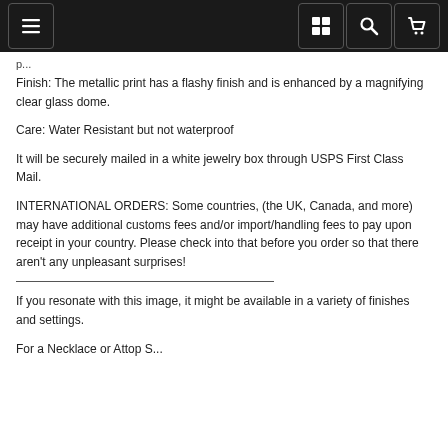Navigation bar with menu, grid, search, and cart icons
Finish: The metallic print has a flashy finish and is enhanced by a magnifying clear glass dome.
Care: Water Resistant but not waterproof
It will be securely mailed in a white jewelry box through USPS First Class Mail.
INTERNATIONAL ORDERS: Some countries, (the UK, Canada, and more) may have additional customs fees and/or import/handling fees to pay upon receipt in your country. Please check into that before you order so that there aren't any unpleasant surprises!
If you resonate with this image, it might be available in a variety of finishes and settings.
For a Necklace or Attop S...